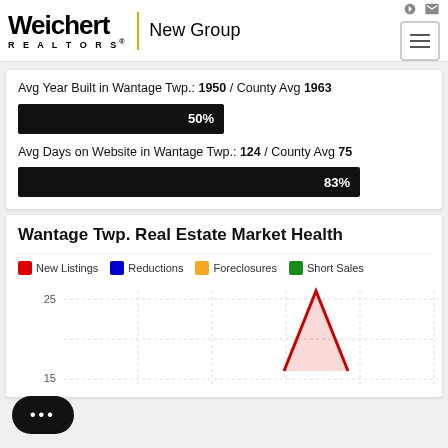[Figure (logo): Weichert Realtors New Group logo with yellow vertical divider]
Avg Year Built in Wantage Twp.: 1950 / County Avg 1963
[Figure (bar-chart): Avg Year Built]
Avg Days on Website in Wantage Twp.: 124 / County Avg 75
[Figure (bar-chart): Avg Days on Website]
Wantage Twp. Real Estate Market Health
[Figure (line-chart): Line chart showing New Listings, Reductions, Foreclosures, Short Sales over time with y-axis showing 15 and 25 gridlines. A prominent red triangle peak is visible.]